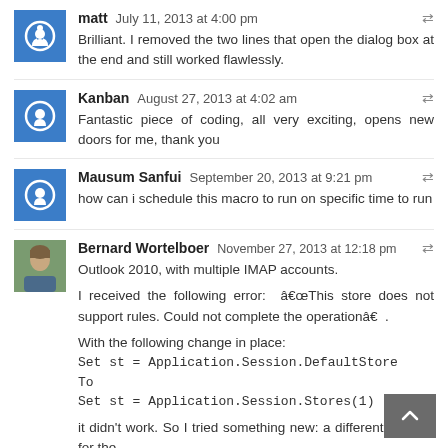matt   July 11, 2013 at 4:00 pm
Brilliant. I removed the two lines that open the dialog box at the end and still worked flawlessly.
Kanban   August 27, 2013 at 4:02 am
Fantastic piece of coding, all very exciting, opens new doors for me, thank you
Mausum Sanfui   September 20, 2013 at 9:21 pm
how can i schedule this macro to run on specific time to run
Bernard Wortelboer   November 27, 2013 at 12:18 pm
Outlook 2010, with multiple IMAP accounts.

I received the following error:  â€œThis store does not support rules. Could not complete the operationâ€  .

With the following change in place:
Set st = Application.Session.DefaultStore
To
Set st = Application.Session.Stores(1)

it didn't work. So I tried something new: a different number for the...